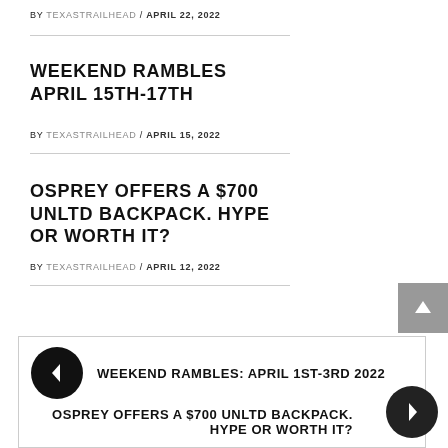BY TEXASTRAILHEAD / APRIL 22, 2022
WEEKEND RAMBLES APRIL 15TH-17TH
BY TEXASTRAILHEAD / APRIL 15, 2022
OSPREY OFFERS A $700 UNLTD BACKPACK. HYPE OR WORTH IT?
BY TEXASTRAILHEAD / APRIL 12, 2022
WEEKEND RAMBLES: APRIL 1ST-3RD 2022
OSPREY OFFERS A $700 UNLTD BACKPACK. HYPE OR WORTH IT?